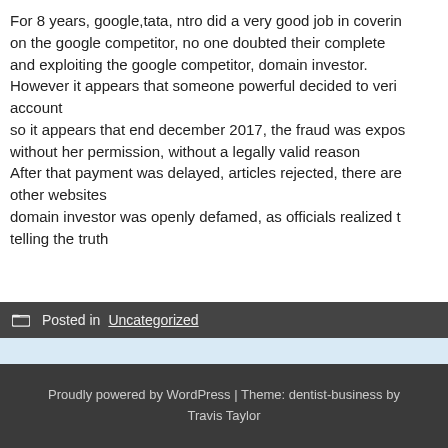For 8 years, google,tata, ntro did a very good job in covering on the google competitor, no one doubted their complete and exploiting the google competitor, domain investor. However it appears that someone powerful decided to veri account
so it appears that end december 2017, the fraud was expos without her permission, without a legally valid reason
After that payment was delayed, articles rejected, there are other websites

domain investor was openly defamed, as officials realized t telling the truth
Posted in Uncategorized
Proudly powered by WordPress | Theme: dentist-business by Travis Taylor